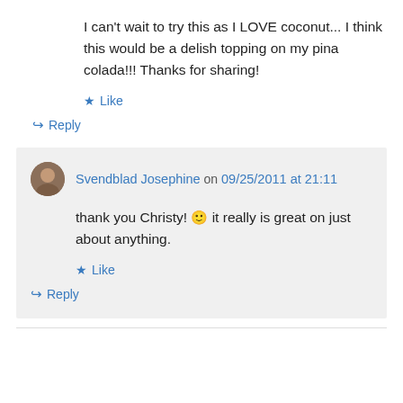I can't wait to try this as I LOVE coconut... I think this would be a delish topping on my pina colada!!! Thanks for sharing!
★ Like
↪ Reply
Svendblad Josephine on 09/25/2011 at 21:11
thank you Christy! 🙂 it really is great on just about anything.
★ Like
↪ Reply